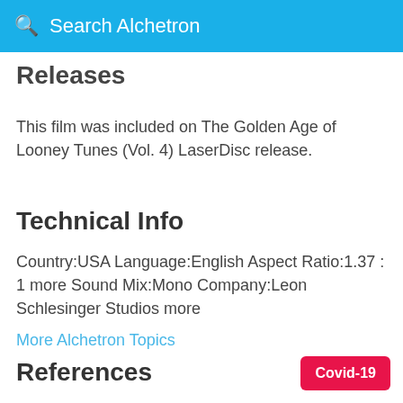Search Alchetron
Releases
This film was included on The Golden Age of Looney Tunes (Vol. 4) LaserDisc release.
Technical Info
Country:USA Language:English Aspect Ratio:1.37 : 1 more Sound Mix:Mono Company:Leon Schlesinger Studios more
More Alchetron Topics
References
Covid-19